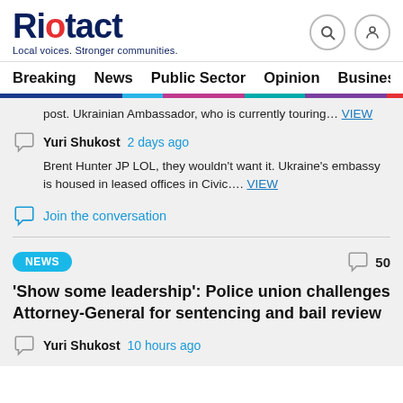Riotact — Local voices. Stronger communities.
Breaking  News  Public Sector  Opinion  Business
touring... VIEW
Yuri Shukost  2 days ago
Brent Hunter JP LOL, they wouldn't want it. Ukraine's embassy is housed in leased offices in Civic.... VIEW
Join the conversation
NEWS  50
'Show some leadership': Police union challenges Attorney-General for sentencing and bail review
Yuri Shukost  10 hours ago